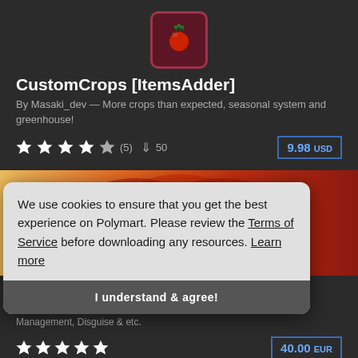[Figure (illustration): Pixel art tomato icon on dark red/maroon background, square with rounded corners]
CustomCrops [ItemsAdder]
By Masaki_dev — More crops than expected, seasonal system and greenhouse!
★★★★☆ (5)  ↓ 50   9.98 USD
[Figure (illustration): Phoenix Core banner image with phoenix bird logo on orange/red gradient background with PHOENIX text]
Phoenix Core
By fenasi_kerim — Perm, Placeholder, Payments, StaffUtils, Server Management, Disguise & etc.
★★★★★   40.00 EUR
We use cookies to ensure that you get the best experience on Polymart. Please review the Terms of Service before downloading any resources. Learn more
I understand & agree!